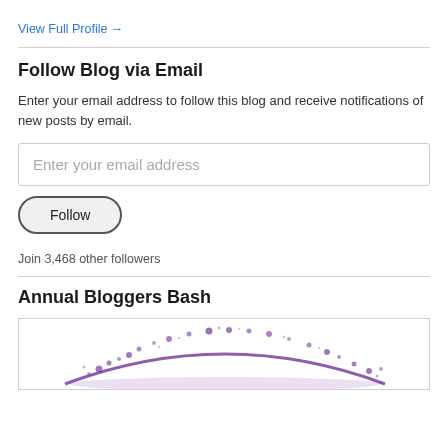View Full Profile →
Follow Blog via Email
Enter your email address to follow this blog and receive notifications of new posts by email.
Enter your email address
Follow
Join 3,468 other followers
Annual Bloggers Bash
[Figure (illustration): Partial view of a purple splatter/paint splash illustration at the bottom of the page]